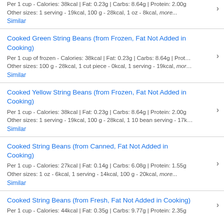Per 1 cup - Calories: 38kcal | Fat: 0.23g | Carbs: 8.64g | Protein: 2.00g
Other sizes: 1 serving - 19kcal, 100 g - 28kcal, 1 oz - 8kcal, more...
Similar
Cooked Green String Beans (from Frozen, Fat Not Added in Cooking)
Per 1 cup of frozen - Calories: 38kcal | Fat: 0.23g | Carbs: 8.64g | Prot…
Other sizes: 100 g - 28kcal, 1 cut piece - 0kcal, 1 serving - 19kcal, mor…
Similar
Cooked Yellow String Beans (from Frozen, Fat Not Added in Cooking)
Per 1 cup - Calories: 38kcal | Fat: 0.23g | Carbs: 8.64g | Protein: 2.00g
Other sizes: 1 serving - 19kcal, 100 g - 28kcal, 1 10 bean serving - 17k…
Similar
Cooked String Beans (from Canned, Fat Not Added in Cooking)
Per 1 cup - Calories: 27kcal | Fat: 0.14g | Carbs: 6.08g | Protein: 1.55g
Other sizes: 1 oz - 6kcal, 1 serving - 14kcal, 100 g - 20kcal, more...
Similar
Cooked String Beans (from Fresh, Fat Not Added in Cooking)
Per 1 cup - Calories: 44kcal | Fat: 0.35g | Carbs: 9.77g | Protein: 2.35g